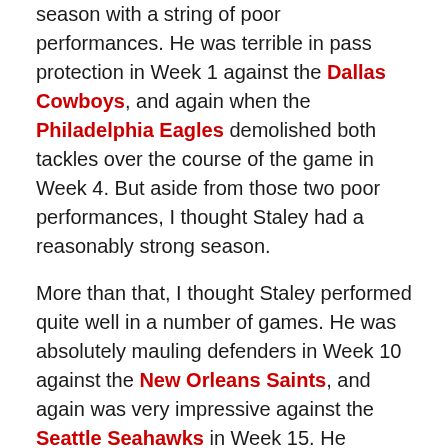season with a string of poor performances. He was terrible in pass protection in Week 1 against the Dallas Cowboys, and again when the Philadelphia Eagles demolished both tackles over the course of the game in Week 4. But aside from those two poor performances, I thought Staley had a reasonably strong season.
More than that, I thought Staley performed quite well in a number of games. He was absolutely mauling defenders in Week 10 against the New Orleans Saints, and again was very impressive against the Seattle Seahawks in Week 15. He routinely goes up against the opposing team's best pass rushers, and he rarely loses the war, even if he does lose the occasional battle.
Why he might improve